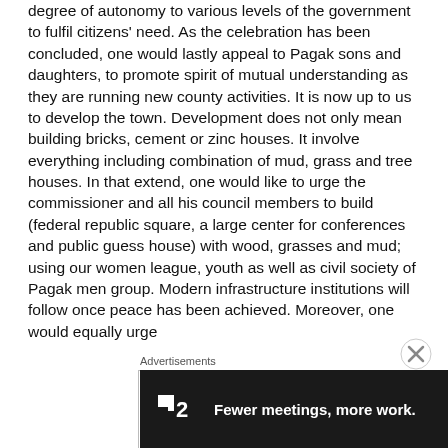degree of autonomy to various levels of the government to fulfil citizens' need. As the celebration has been concluded, one would lastly appeal to Pagak sons and daughters, to promote spirit of mutual understanding as they are running new county activities. It is now up to us to develop the town. Development does not only mean building bricks, cement or zinc houses. It involve everything including combination of mud, grass and tree houses. In that extend, one would like to urge the commissioner and all his council members to build (federal republic square, a large center for conferences and public guess house) with wood, grasses and mud; using our women league, youth as well as civil society of Pagak men group. Modern infrastructure institutions will follow once peace has been achieved. Moreover, one would equally urge
Advertisements
[Figure (other): Dark advertisement banner for a software/productivity tool with logo showing a stylized square icon with the number 2, and text reading 'Fewer meetings, more work.']